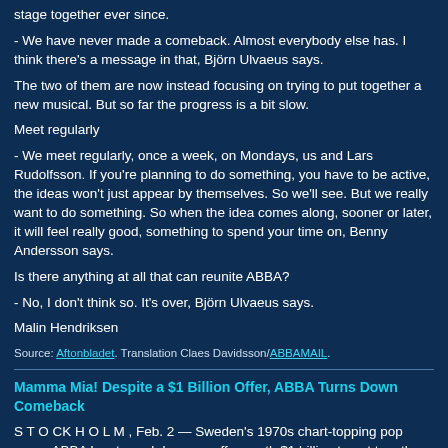stage together ever since.
- We have never made a comeback. Almost everybody else has. I think there's a message in that, Björn Ulvaeus says.
The two of them are now instead focusing on trying to put together a new musical. But so far the progress is a bit slow.
Meet regularly
- We meet regularly, once a week, on Mondays, us and Lars Rudolfsson. If you're planning to do something, you have to be active, the ideas won't just appear by themselves. So we'll see. But we really want to do something. So when the idea comes along, sooner or later, it will feel really good, something to spend your time on, Benny Andersson says.
Is there anything at all that can reunite ABBA?
- No, I don't think so. It's over, Björn Ulvaeus says.
Malin Hendriksen
Source: Aftonbladet. Translation Claes Davidsson/ABBAMAIL.
Mamma Mia! Despite a $1 Billion Offer, ABBA Turns Down Comeback
S T O CK H O L M , Feb. 2 — Sweden's 1970s chart-topping pop group ABBA has turned down an offer worth $1 billion to get together again after 17 years.